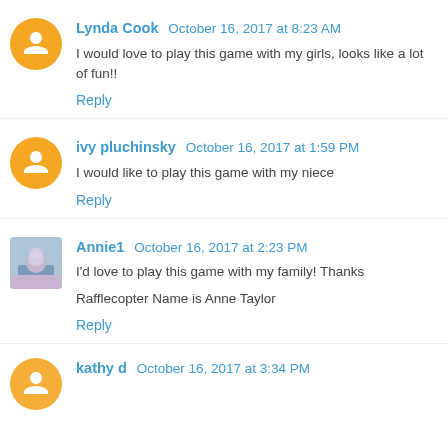Lynda Cook October 16, 2017 at 8:23 AM
I would love to play this game with my girls, looks like a lot of fun!!
Reply
ivy pluchinsky October 16, 2017 at 1:59 PM
I would like to play this game with my niece
Reply
Annie1 October 16, 2017 at 2:23 PM
I'd love to play this game with my family! Thanks
Rafflecopter Name is Anne Taylor
Reply
kathy d October 16, 2017 at 3:34 PM